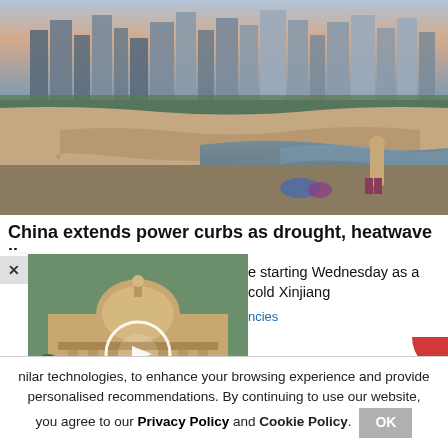[Figure (photo): Cityscape with skyscrapers in background, a dry riverbed with exposed rocks in the foreground, and a person in swim trunks standing at the water's edge during sunset/dusk.]
China extends power curbs as drought, heatwave linger
e starting Wednesday as a cold Xinjiang
ncies
[Figure (photo): Supreme Court of India building with dome and columns, trees in foreground, with a circular overlay graphic on the image.]
nilar technologies, to enhance your browsing experience and provide personalised recommendations. By continuing to use our website, you agree to our Privacy Policy and Cookie Policy.
OK